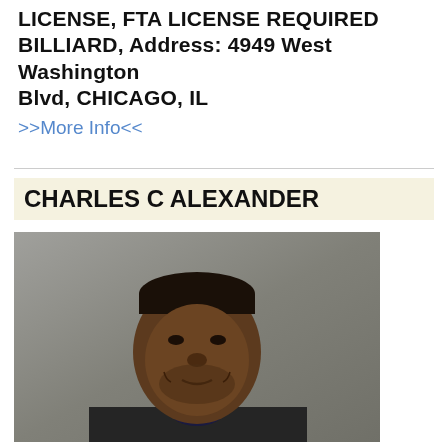LICENSE, FTA LICENSE REQUIRED BILLIARD, Address: 4949 West Washington Blvd, CHICAGO, IL
>>More Info<<
CHARLES C ALEXANDER
[Figure (photo): Mugshot photograph of Charles C Alexander, a man wearing a dark long-sleeve shirt, against a grey background]